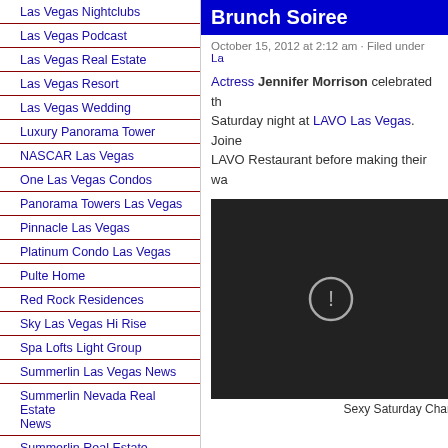Las Vegas Nightclubs
Las Vegas Podcast
Las Vegas Real Estate
Las Vegas Resort
Las Vegas Wedding
Luxury Panorama Tower
NASCAR Las Vegas
One Las Vegas Condos
Panorama Towers Las Vegas
Pinnacle Las Vegas
Platinum Condo Las Vegas
Pulte Home
Red Rock Residences
Sky Las Vegas Hi Rise
Spa Lofts Light Group
Summerlin Las Vegas News
Summerlin Nevada Real Estate News
Summerlin Real Estate
The Signature
The Signature MGM Residences
Trump Towers Las Vegas
UFC Ultimate Fighting Challenge
Brunch Soiree
October 15, 2012 at 2:12 am · Filed under La...
Actress Jennifer Morrison celebrated th... Saturday night at LAVO Las Vegas. Joine... LAVO Restaurant before making their wa...
[Figure (screenshot): Dark video player with an exclamation mark error icon in the center]
Sexy Saturday Char...